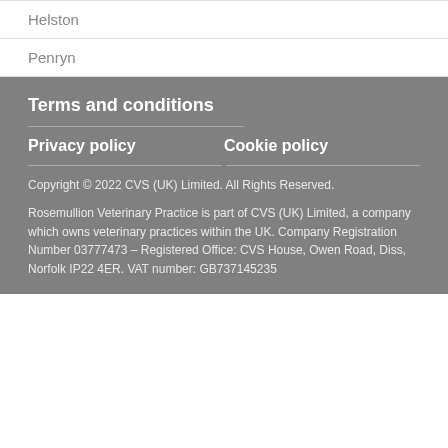Helston
Penryn
Terms and conditions
Privacy policy
Cookie policy
Copyright © 2022 CVS (UK) Limited. All Rights Reserved.
Rosemullion Veterinary Practice is part of CVS (UK) Limited, a company which owns veterinary practices within the UK. Company Registration Number 03777473 – Registered Office: CVS House, Owen Road, Diss, Norfolk IP22 4ER. VAT number: GB737145235